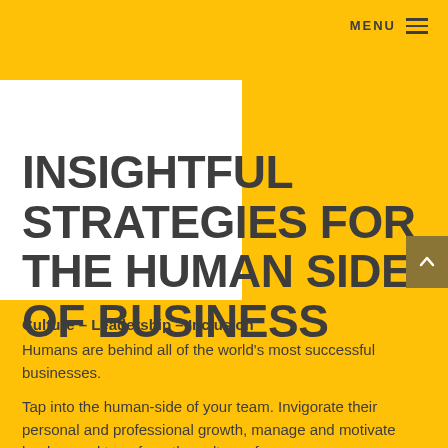MENU
INSIGHTFUL STRATEGIES FOR THE HUMAN SIDE OF BUSINESS
Culture – Leadership – Inclusion
Humans are behind all of the world's most successful businesses.
Tap into the human-side of your team. Invigorate their personal and professional growth, manage and motivate leaders and transform the culture of